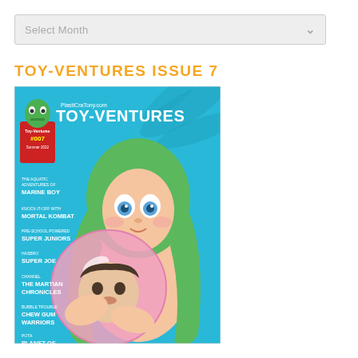Select Month
TOY-VENTURES ISSUE 7
[Figure (illustration): Magazine cover for Toy-Ventures Issue 7 featuring an illustrated anime-style girl with long green hair holding a glowing pink sphere/bubble with a boy inside. Blue tropical background. Cover text lists: PlastiCraTony.com, TOY-VENTURES, Toy-Ventures #07, Summer 2022, The Aquatic Adventures of Marine Boy, Knock-It-Off with Mortal Kombat, Pre-School Powered Super Juniors, Hasbro Super Joe, Cannel The Martian Chronicles, Bubble Trouble Chew Gum Warriors, POTA Planet of the Apes.]